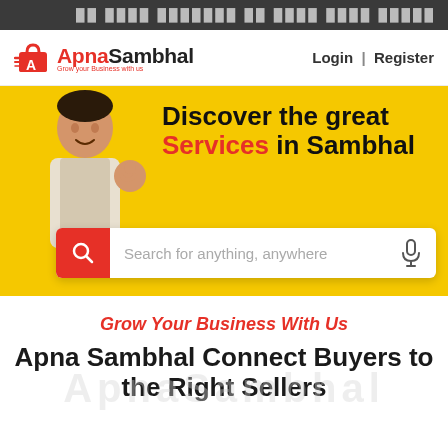█████████████████████████████
[Figure (logo): ApnaSambhal logo with shopping bag icon, red and black text, tagline 'Grow your Business with us']
Login | Register
[Figure (screenshot): Yellow hero banner with a smiling man making OK gesture, headline 'Discover the great Services in Sambhal', and a search bar with red search icon button and microphone icon]
Grow Your Business With Us
Apna Sambhal Connect Buyers to the Right Sellers